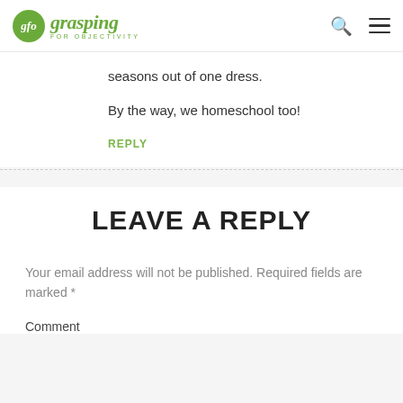glo grasping FOR OBJECTIVITY
seasons out of one dress.
By the way, we homeschool too!
REPLY
LEAVE A REPLY
Your email address will not be published. Required fields are marked *
Comment